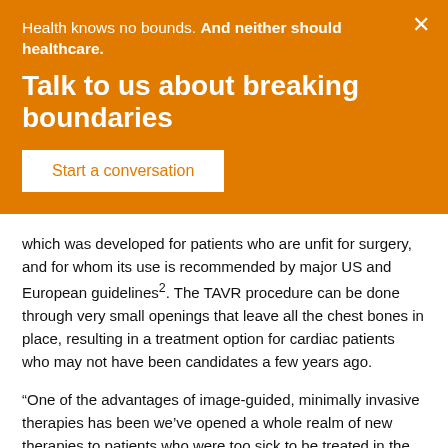Health knows no bounds. And neither should healthcare.
Talk to us about breaking boundaries
Start a conversation
which was developed for patients who are unfit for surgery, and for whom its use is recommended by major US and European guidelines². The TAVR procedure can be done through very small openings that leave all the chest bones in place, resulting in a treatment option for cardiac patients who may not have been candidates a few years ago.
“One of the advantages of image-guided, minimally invasive therapies has been we’ve opened a whole realm of new therapies to patients who were too sick to be treated in the past because their ...